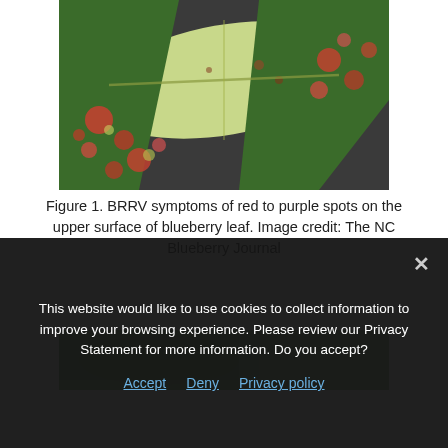[Figure (photo): Close-up photograph of blueberry leaves showing BRRV symptoms: red to purple spots on the upper surface. A pale green leaf is prominent in the center, surrounded by other leaves with red and pink spots.]
Figure 1. BRRV symptoms of red to purple spots on the upper surface of blueberry leaf. Image credit: The NC Blueberry Journal
[Figure (photo): Partial view of a second blueberry-related photograph, partially obscured by the cookie consent overlay.]
This website would like to use cookies to collect information to improve your browsing experience. Please review our Privacy Statement for more information. Do you accept?
Accept  Deny  Privacy policy